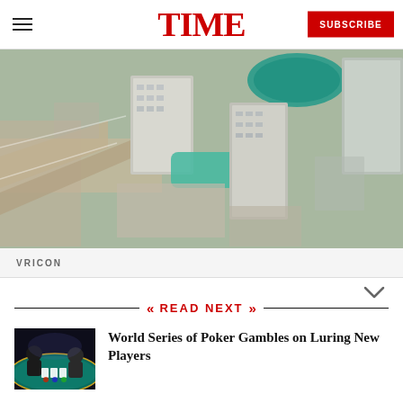TIME
[Figure (photo): Aerial view of Las Vegas hotel and casino complex, looking down at large tower buildings, roads, and turquoise pool area]
VRICON
READ NEXT
[Figure (photo): Poker player at a table during World Series of Poker tournament, dark venue with dramatic lighting]
World Series of Poker Gambles on Luring New Players